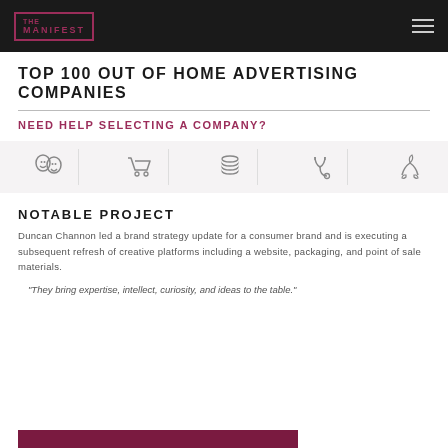THE MANIFEST
TOP 100 OUT OF HOME ADVERTISING COMPANIES
NEED HELP SELECTING A COMPANY?
[Figure (illustration): Five industry category icons: theater masks, shopping cart, stacked coins, stethoscope, hands holding leaf]
NOTABLE PROJECT
Duncan Channon led a brand strategy update for a consumer brand and is executing a subsequent refresh of creative platforms including a website, packaging, and point of sale materials.
“They bring expertise, intellect, curiosity, and ideas to the table.”